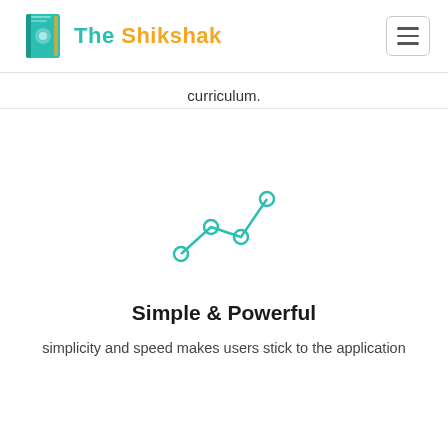The Shikshak
curriculum.
[Figure (illustration): A teal/mint colored line chart icon with three connected data points (circles) forming an upward trend line]
Simple & Powerful
simplicity and speed makes users stick to the application